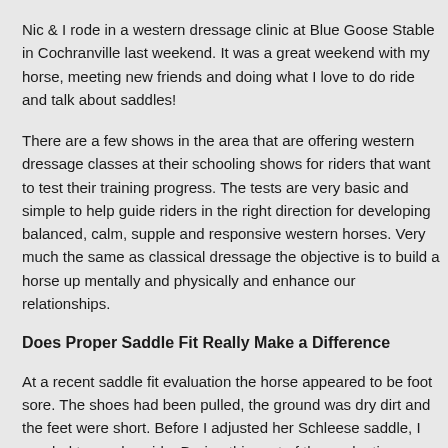Nic & I rode in a western dressage clinic at Blue Goose Stable in Cochranville last weekend. It was a great weekend with my horse, meeting new friends and doing what I love to do ride and talk about saddles!
There are a few shows in the area that are offering western dressage classes at their schooling shows for riders that want to test their training progress. The tests are very basic and simple to help guide riders in the right direction for developing balanced, calm, supple and responsive western horses. Very much the same as classical dressage the objective is to build a horse up mentally and physically and enhance our relationships.
Does Proper Saddle Fit Really Make a Difference
At a recent saddle fit evaluation the horse appeared to be foot sore. The shoes had been pulled, the ground was dry dirt and the feet were short. Before I adjusted her Schleese saddle, I needed to see her ride. During this part of the evaluation we can see how the horse travels, his attitude and overall general behavior, the rider's position and the dust pattern. The dust pattern confirms what we see for instance; did the saddle slip to one side, forward or back and if there is any uneven